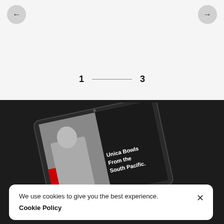[Figure (screenshot): Light gray background section with left and right circular navigation arrows at the top, and a pagination indicator showing '1 — 3' centered below.]
1 — 3
[Figure (photo): Dark background section showing a tablet device displaying a dark-themed app/website with an image of a person and text reading 'Unica Bowls From the South Pacific.']
We use cookies to give you the best experience.
Cookie Policy